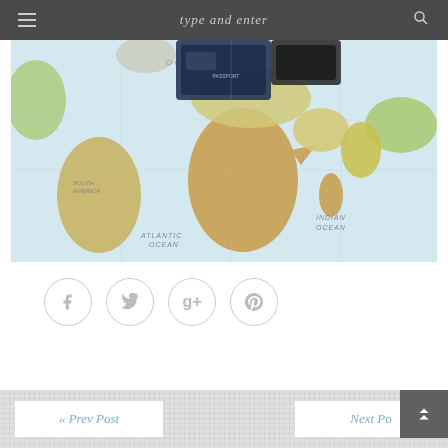type and enter
[Figure (photo): World map with passports placed on top, showing Africa, South America, Indian Ocean, Atlantic Ocean labels]
[Figure (infographic): Social sharing buttons: Facebook, Twitter, Google+, Pinterest — circular outlined icons in a row]
« Prev Post    Next Post »